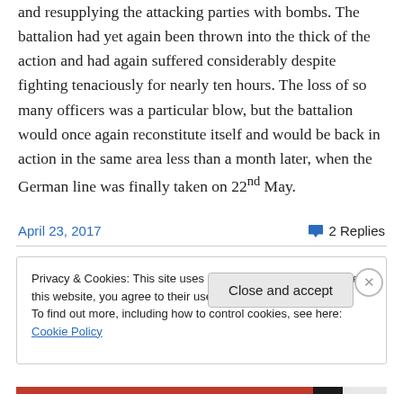and resupplying the attacking parties with bombs. The battalion had yet again been thrown into the thick of the action and had again suffered considerably despite fighting tenaciously for nearly ten hours. The loss of so many officers was a particular blow, but the battalion would once again reconstitute itself and would be back in action in the same area less than a month later, when the German line was finally taken on 22nd May.
April 23, 2017   2 Replies
Privacy & Cookies: This site uses cookies. By continuing to use this website, you agree to their use. To find out more, including how to control cookies, see here: Cookie Policy